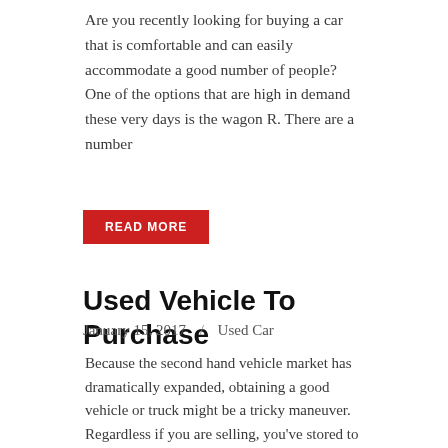Are you recently looking for buying a car that is comfortable and can easily accommodate a good number of people? One of the options that are high in demand these very days is the wagon R. There are a number
READ MORE
Used Vehicle To Purchase
January 15, 2017  /  Used Car
Because the second hand vehicle market has dramatically expanded, obtaining a good vehicle or truck might be a tricky maneuver. Regardless if you are selling, you've stored to pass through several processes, also in comparison with other. Although, out of
READ MORE